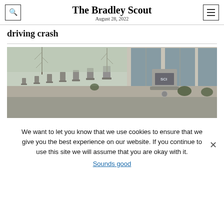The Bradley Scout
August 28, 2022
driving crash
[Figure (photo): Outdoor photo of a row of grey memorial-style stone markers or bollards along a paved walkway beside a modern glass-and-stone building, with bare winter trees and trimmed bushes in gravel landscape. The nearest marker shows a placard. Photo taken in daylight.]
We want to let you know that we use cookies to ensure that we give you the best experience on our website. If you continue to use this site we will assume that you are okay with it.
Sounds good